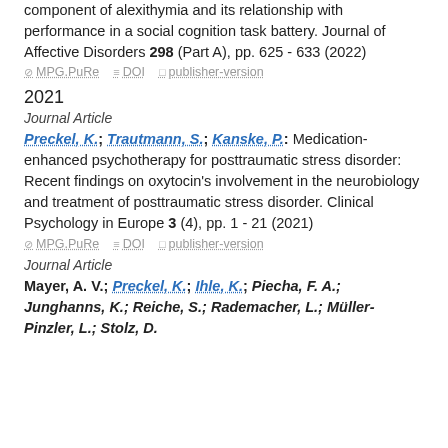component of alexithymia and its relationship with performance in a social cognition task battery. Journal of Affective Disorders 298 (Part A), pp. 625 - 633 (2022)
⊘ MPG.PuRe  ≡ DOI  □ publisher-version
2021
Journal Article
Preckel, K.; Trautmann, S.; Kanske, P.: Medication-enhanced psychotherapy for posttraumatic stress disorder: Recent findings on oxytocin's involvement in the neurobiology and treatment of posttraumatic stress disorder. Clinical Psychology in Europe 3 (4), pp. 1 - 21 (2021)
⊘ MPG.PuRe  ≡ DOI  □ publisher-version
Journal Article
Mayer, A. V.; Preckel, K.; Ihle, K.; Piecha, F. A.; Junghanns, K.; Reiche, S.; Rademacher, L.; Müller-Pinzler, L.; Stolz, D.